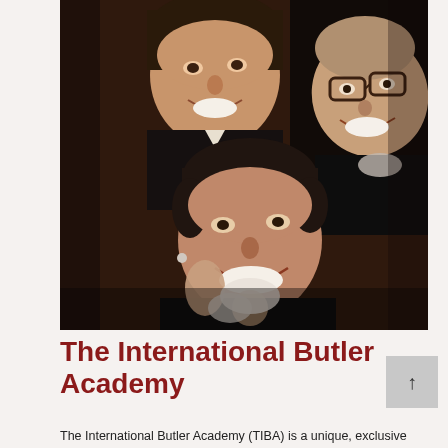[Figure (photo): Three smiling women posing closely together in a group photo. One wears glasses with dark frames. They appear to be at a formal or social event, dressed in dark clothing.]
The International Butler Academy
The International Butler Academy (TIBA) is a unique, exclusive